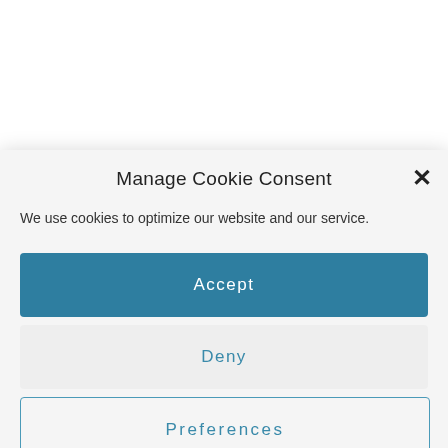Manage Cookie Consent
We use cookies to optimize our website and our service.
Accept
Deny
Preferences
Cookie Policy  Privacy Policy